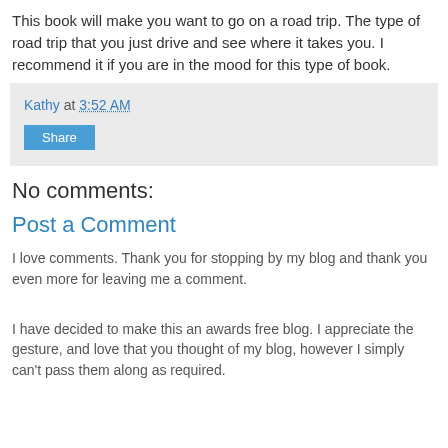This book will make you want to go on a road trip. The type of road trip that you just drive and see where it takes you. I recommend it if you are in the mood for this type of book.
Kathy at 3:52 AM
Share
No comments:
Post a Comment
I love comments. Thank you for stopping by my blog and thank you even more for leaving me a comment.
I have decided to make this an awards free blog. I appreciate the gesture, and love that you thought of my blog, however I simply can't pass them along as required.